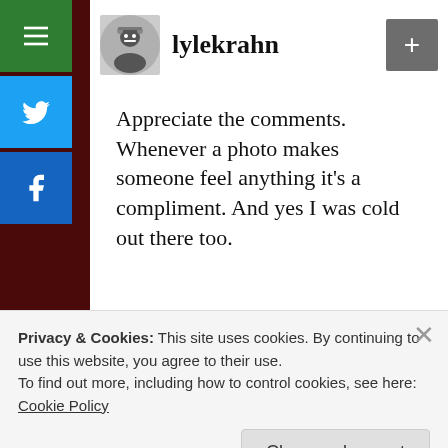lylekrahn
Appreciate the comments. Whenever a photo makes someone feel anything it's a compliment. And yes I was cold out there too.
Like
December 6, 2012 at 10:56 am
Privacy & Cookies: This site uses cookies. By continuing to use this website, you agree to their use.
To find out more, including how to control cookies, see here:
Cookie Policy
Close and accept